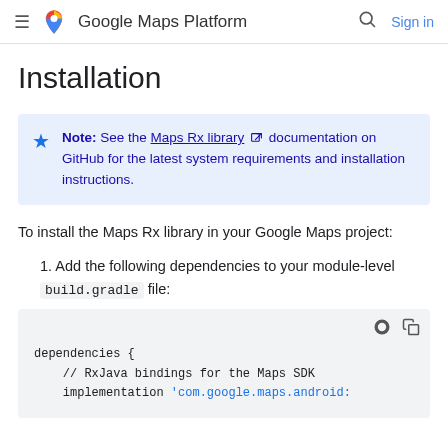Google Maps Platform — Sign in
Installation
Note: See the Maps Rx library documentation on GitHub for the latest system requirements and installation instructions.
To install the Maps Rx library in your Google Maps project:
1. Add the following dependencies to your module-level build.gradle file:
dependencies {
    // RxJava bindings for the Maps SDK
    implementation 'com.google.maps.android: